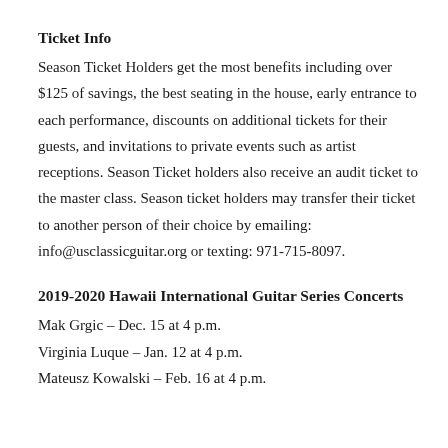Ticket Info
Season Ticket Holders get the most benefits including over $125 of savings, the best seating in the house, early entrance to each performance, discounts on additional tickets for their guests, and invitations to private events such as artist receptions. Season Ticket holders also receive an audit ticket to the master class. Season ticket holders may transfer their ticket to another person of their choice by emailing: info@usclassicguitar.org or texting: 971-715-8097.
2019-2020 Hawaii International Guitar Series Concerts
Mak Grgic – Dec. 15 at 4 p.m.
Virginia Luque – Jan. 12 at 4 p.m.
Mateusz Kowalski – Feb. 16 at 4 p.m.